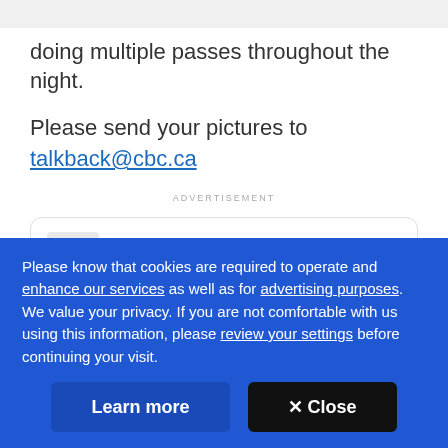doing multiple passes throughout the night.
Please send your pictures to talkback@cbc.ca
ADVERTISEMENT
[Figure (screenshot): Winnipeg TMC Twitter account card showing logo, name @WinnipegTMC and Follow button with Twitter bird icon]
Please know that cookies are required to operate and enhance our services as well as for advertising purposes. We value your privacy. If you are not comfortable with us using this information, please review your settings before continuing your visit.
Learn more
✕ Close